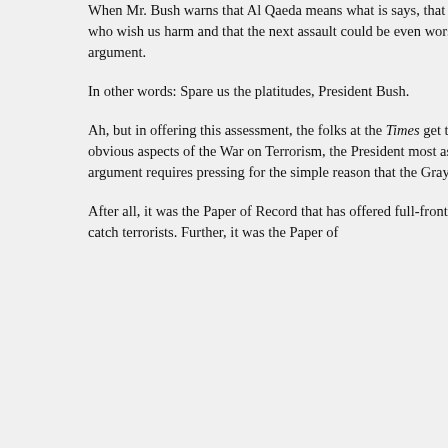When Mr. Bush warns that Al Qaeda means what is says, that there are Islamist fanatics around the world who wish us harm and that the next assault could be even worse than the last, he does not need to press the argument.
In other words: Spare us the platitudes, President Bush.
Ah, but in offering this assessment, the folks at the Times get things exactly wrong. When discussing these obvious aspects of the War on Terrorism, the President most assuredly needs to press the argument. And the argument requires pressing for the simple reason that the Gray Lady's staffers don't get it yet.
After all, it was the Paper of Record that has offered full-frontal assaults on the President's legal attempts to catch terrorists. Further, it was the Paper of
“Richard Posner: A Study in Decline
[Figure (other): Contact icon (megaphone/speaker) followed by partial text CONTAC]
LINKS
NEWS AND OPINION
ATLANTIC MONTHLY
ARTS & LETTERS DAILY
CITY JOURNAL
CNN
COMMENTARY
DAILY MAIL
DISSENT
DRUDGE REPORT
FIRST THINGS
FOREIGN AFFAIRS
FOX NEWS
HAARETZ
JERUSALEM POST
LONDON